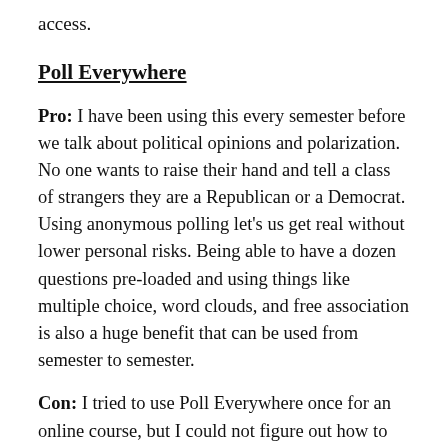access.
Poll Everywhere
Pro: I have been using this every semester before we talk about political opinions and polarization. No one wants to raise their hand and tell a class of strangers they are a Republican or a Democrat. Using anonymous polling let's us get real without lower personal risks. Being able to have a dozen questions pre-loaded and using things like multiple choice, word clouds, and free association is also a huge benefit that can be used from semester to semester.
Con: I tried to use Poll Everywhere once for an online course, but I could not figure out how to post my questions. After I created an account, Poll Everywhere sends me emails that clutter my email box. I ended up